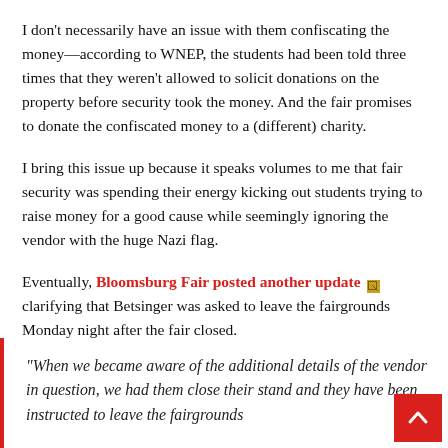I don't necessarily have an issue with them confiscating the money—according to WNEP, the students had been told three times that they weren't allowed to solicit donations on the property before security took the money. And the fair promises to donate the confiscated money to a (different) charity.
I bring this issue up because it speaks volumes to me that fair security was spending their energy kicking out students trying to raise money for a good cause while seemingly ignoring the vendor with the huge Nazi flag.
Eventually, Bloomsburg Fair posted another update [link icon] clarifying that Betsinger was asked to leave the fairgrounds Monday night after the fair closed.
“When we became aware of the additional details of the vendor in question, we had them close their stand and they have been instructed to leave the fairgrounds